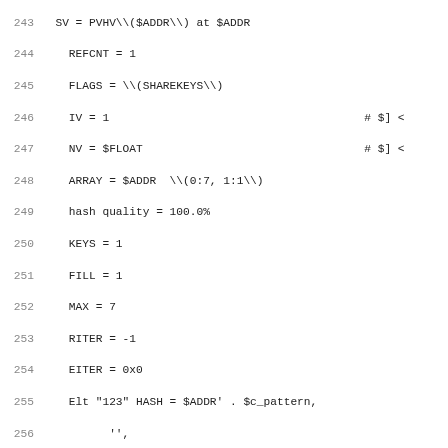[Figure (screenshot): Source code listing showing Perl test code with line numbers 243-274. Code includes SV/REFCNT/FLAGS/IV/NV/ARRAY/KEYS/FILL/MAX/RITER/EITER variable assignments, hash quality output, Elt entries, do_test function calls, and SV/RV/PVCV structure dumps with FLAGS containing PADMY,POK,pPOK,ANON,WEAKOUTSIDE,CVGV_RC flags.]